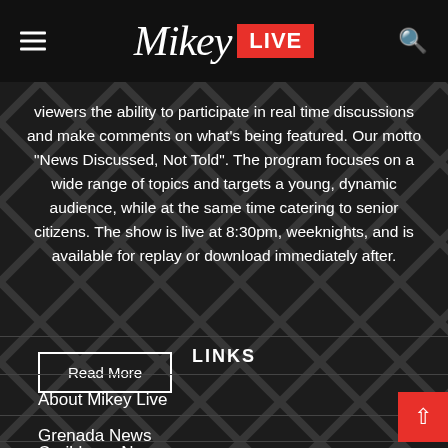Mikey LIVE
viewers the ability to participate in real time discussions and make comments on what's being featured. Our motto “News Discussed, Not Told”. The program focuses on a wide range of topics and targets a young, dynamic audience, while at the same time catering to senior citizens. The show is live at 8:30pm, weeknights, and is available for replay or download immediately after.
Read More
LINKS
About Mikey Live
Grenada News
Caribbean News